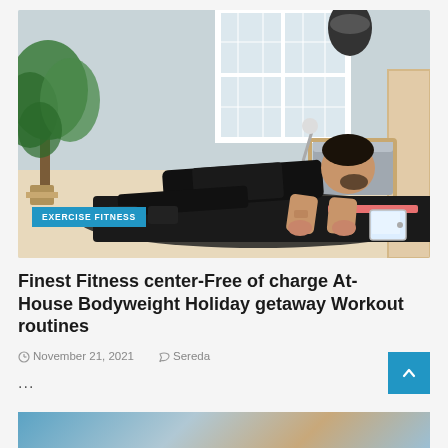[Figure (photo): Man in black t-shirt doing a plank exercise on a dark yoga mat in a bright apartment bedroom, with a tablet on the floor in front of him and plants to the left. Pendant lamp hangs from ceiling.]
EXERCISE FITNESS
Finest Fitness center-Free of charge At-House Bodyweight Holiday getaway Workout routines
November 21, 2021   Sereda
...
[Figure (photo): Partial bottom image showing a fitness or outdoor scene, cropped at page bottom.]